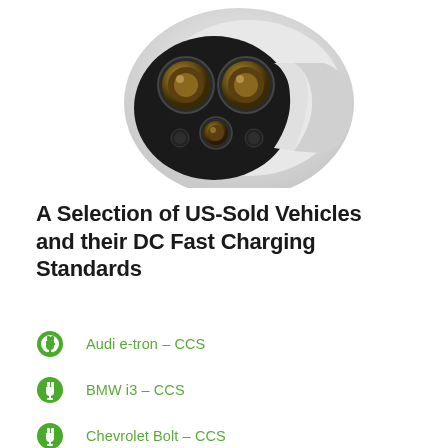[Figure (photo): Close-up photograph of an electric vehicle DC fast charging connector plug, showing two large circular contacts and one smaller one, with a white body and black face]
A Selection of US-Sold Vehicles and their DC Fast Charging Standards
Audi e-tron – CCS
BMW i3 – CCS
Chevrolet Bolt – CCS